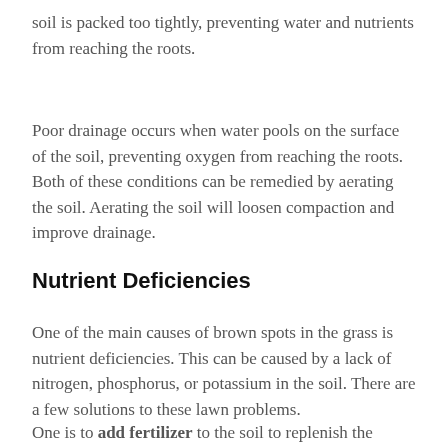soil is packed too tightly, preventing water and nutrients from reaching the roots.
Poor drainage occurs when water pools on the surface of the soil, preventing oxygen from reaching the roots. Both of these conditions can be remedied by aerating the soil. Aerating the soil will loosen compaction and improve drainage.
Nutrient Deficiencies
One of the main causes of brown spots in the grass is nutrient deficiencies. This can be caused by a lack of nitrogen, phosphorus, or potassium in the soil. There are a few solutions to these lawn problems.
One is to add fertilizer to the soil to replenish the nutrients